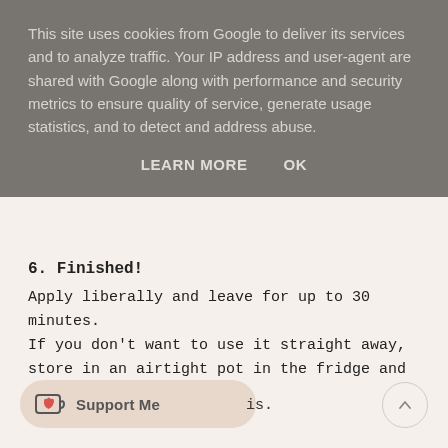This site uses cookies from Google to deliver its services and to analyze traffic. Your IP address and user-agent are shared with Google along with performance and security metrics to ensure quality of service, generate usage statistics, and to detect and address abuse.
LEARN MORE    OK
6. Finished!
Apply liberally and leave for up to 30 minutes.
If you don't want to use it straight away, store in an airtight pot in the fridge and use within 24 hours.
[Figure (other): Support Me button with heart-in-cup icon on beige rounded pill background, and a circular scroll-to-top arrow button on the right]